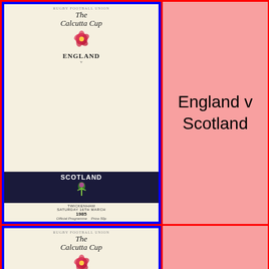[Figure (photo): Rugby programme cover for England v Scotland 1985 Calcutta Cup at Twickenham, Saturday 16 March 1985]
England v Scotland
16 Mar 1985
Twickenham
10 - 7
[Figure (photo): Rugby programme cover for England v Scotland 1987 Calcutta Cup at Twickenham, Saturday 4 April 1987, Save & Prosper]
England v Scotland
4 April 1987
Twickenham
21-12
[Figure (photo): Rugby programme cover for England v Scotland 1989 Calcutta Cup at Twickenham, Saturday 4 February 1989, Save & Prosper]
England v Scotland
4 Feb 1989
Twickenham
12-12